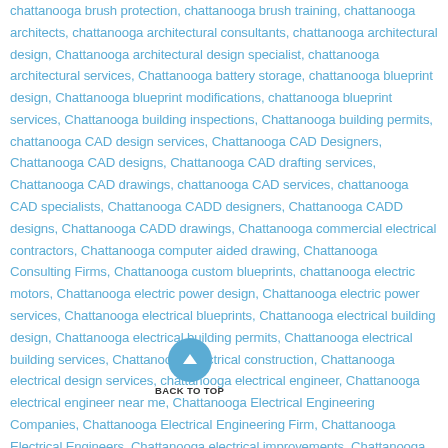chattanooga brush protection, chattanooga brush training, chattanooga architects, chattanooga architectural consultants, chattanooga architectural design, Chattanooga architectural design specialist, chattanooga architectural services, Chattanooga battery storage, chattanooga blueprint design, Chattanooga blueprint modifications, chattanooga blueprint services, Chattanooga building inspections, Chattanooga building permits, chattanooga CAD design services, Chattanooga CAD Designers, Chattanooga CAD designs, Chattanooga CAD drafting services, Chattanooga CAD drawings, chattanooga CAD services, chattanooga CAD specialists, Chattanooga CADD designers, Chattanooga CADD designs, Chattanooga CADD drawings, Chattanooga commercial electrical contractors, Chattanooga computer aided drawing, Chattanooga Consulting Firms, Chattanooga custom blueprints, chattanooga electric motors, Chattanooga electric power design, Chattanooga electric power services, Chattanooga electrical blueprints, Chattanooga electrical building design, Chattanooga electrical building permits, Chattanooga electrical building services, Chattanooga electrical construction, Chattanooga electrical design services, chattanooga electrical engineer, Chattanooga electrical engineer near me, Chattanooga Electrical Engineering Companies, Chattanooga Electrical Engineering Firm, Chattanooga Electrical Engineers, Chattanooga electrical improvements, Chattanooga electrical inspector, Chattanooga electrical panel replacements, Chattanooga electrical panel
[Figure (other): Back to top button: a blue circle with a white upward-pointing arrow, labeled BACK TO TOP in dark text below.]